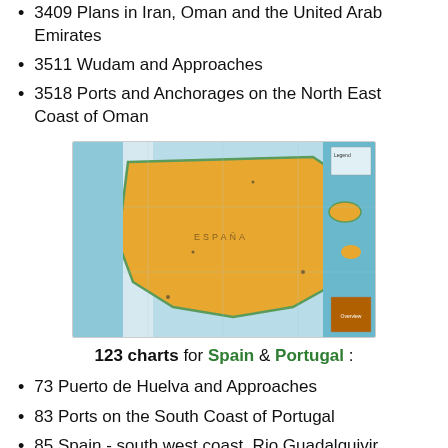3409 Plans in Iran, Oman and the United Arab Emirates
3511 Wudam and Approaches
3518 Ports and Anchorages on the North East Coast of Oman
[Figure (map): Nautical chart map showing Spain and Portugal coastlines with surrounding waters in teal/blue and land mass in orange/amber color]
123 charts for Spain & Portugal :
73 Puerto de Huelva and Approaches
83 Ports on the South Coast of Portugal
85 Spain - south west coast, Rio Guadalquivir
86 Bahia de Cadiz
87 Cabo Finisterre to the Strait of Gibraltar